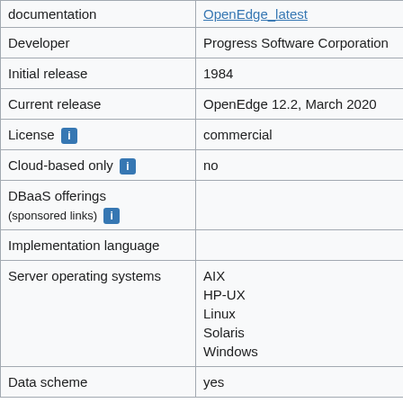| Property | Value |
| --- | --- |
| documentation | OpenEdge_latest |
| Developer | Progress Software Corporation |
| Initial release | 1984 |
| Current release | OpenEdge 12.2, March 2020 |
| License ℹ | commercial |
| Cloud-based only ℹ | no |
| DBaaS offerings (sponsored links) ℹ |  |
| Implementation language |  |
| Server operating systems | AIX
HP-UX
Linux
Solaris
Windows |
| Data scheme | yes |